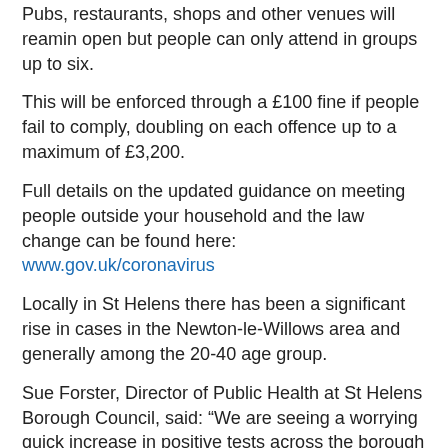Pubs, restaurants, shops and other venues will reamin open but people can only attend in groups up to six.
This will be enforced through a £100 fine if people fail to comply, doubling on each offence up to a maximum of £3,200.
Full details on the updated guidance on meeting people outside your household and the law change can be found here: www.gov.uk/coronavirus
Locally in St Helens there has been a significant rise in cases in the Newton-le-Willows area and generally among the 20-40 age group.
Sue Forster, Director of Public Health at St Helens Borough Council, said: “We are seeing a worrying quick increase in positive tests across the borough and the worst affected at present is the Newton-le-Willows area. This rise has happened even though we have not seen a rise in testing numbers in the borough so we are seeing more community transmission at this time.
“We are taking this action cut off the community transmission by making people in the Newton-le-Willows area aware there has been a number of confirmed cases in close proximity to them.